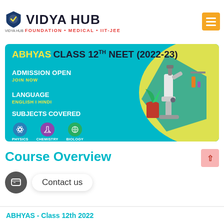[Figure (logo): Vidya Hub logo with shield icon and text VIDYA HUB, tagline FOUNDATION • MEDICAL • IIT-JEE]
[Figure (infographic): ABHYAS CLASS 12th NEET (2022-23) admission banner. Teal background with yellow arc design. Sections: ADMISSION OPEN / JOIN NOW, LANGUAGE / ENGLISH I HINDI, SUBJECTS COVERED with icons for Physics, Chemistry, Biology. Right side shows microscope illustration.]
Course Overview
Contact us
ABHYAS - Class 12th 2022